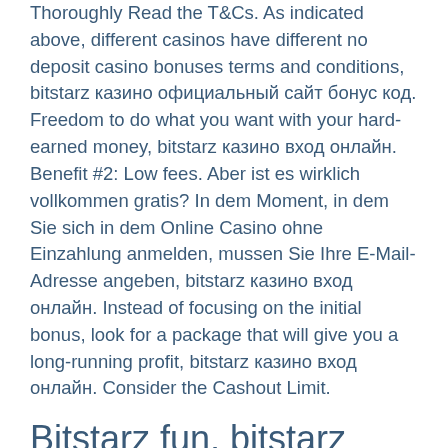Thoroughly Read the T&Cs. As indicated above, different casinos have different no deposit casino bonuses terms and conditions, bitstarz казино официальный сайт бонус код. Freedom to do what you want with your hard-earned money, bitstarz казино вход онлайн. Benefit #2: Low fees. Aber ist es wirklich vollkommen gratis? In dem Moment, in dem Sie sich in dem Online Casino ohne Einzahlung anmelden, mussen Sie Ihre E-Mail-Adresse angeben, bitstarz казино вход онлайн. Instead of focusing on the initial bonus, look for a package that will give you a long-running profit, bitstarz казино вход онлайн. Consider the Cashout Limit.
Bitstarz fun, bitstarz bonus senza deposito 20 ilmaiskierroksia
We are confident you will have fun with these